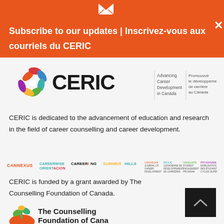[Figure (infographic): Orange subscription banner with envelope icon and close X button. Text: Subscribe to our updates | Inscrivez-vous aux courriels du CERIC]
[Figure (logo): CERIC logo with colorful pinwheel icon, bold CERIC text, and bilingual tagline: Advancing Career Development in Canada / Promouvoir le développement de carrière au Canada]
CERIC is dedicated to the advancement of education and research in the field of career counselling and career development.
[Figure (logo): Strip of CERIC program logos: CANNEXUS, CAREERWISE ORIENTATION, CAREERING, SUMMERHILLS, and several French/bilingual program logos]
CERIC is funded by a grant awarded by The Counselling Foundation of Canada.
[Figure (logo): The Counselling Foundation of Canada logo with orange hands holding green plant sprout]